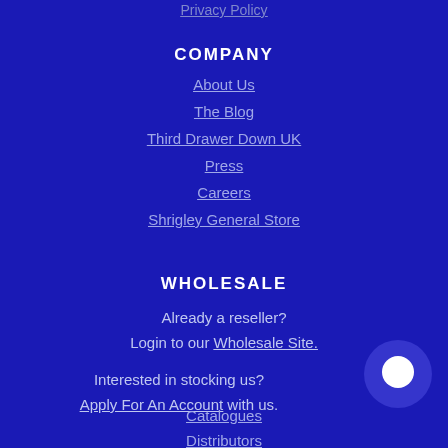Privacy Policy
COMPANY
About Us
The Blog
Third Drawer Down UK
Press
Careers
Shrigley General Store
WHOLESALE
Already a reseller? Login to our Wholesale Site.
Interested in stocking us? Apply For An Account with us.
Catalogues
Distributors